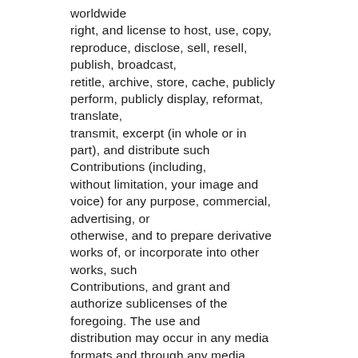worldwide right, and license to host, use, copy, reproduce, disclose, sell, resell, publish, broadcast, retitle, archive, store, cache, publicly perform, publicly display, reformat, translate, transmit, excerpt (in whole or in part), and distribute such Contributions (including, without limitation, your image and voice) for any purpose, commercial, advertising, or otherwise, and to prepare derivative works of, or incorporate into other works, such Contributions, and grant and authorize sublicenses of the foregoing. The use and distribution may occur in any media formats and through any media channels. This license will apply to any form, media, or technology now known or hereafter